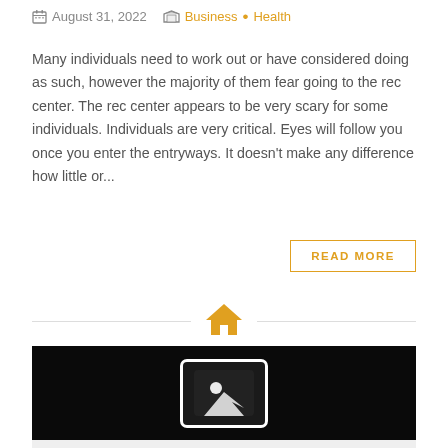August 31, 2022  Business • Health
Many individuals need to work out or have considered doing as such, however the majority of them fear going to the rec center. The rec center appears to be very scary for some individuals. Individuals are very critical. Eyes will follow you once you enter the entryways. It doesn't make any difference how little or...
READ MORE
[Figure (illustration): Orange house icon centered between two horizontal divider lines]
[Figure (photo): Dark/black image background with a white-bordered image placeholder icon in the center]
INTERESTED GAMBLERS START OUT WITH ONLINE CASINO SITE